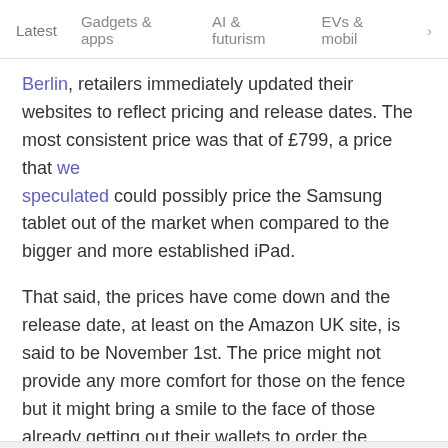Latest   Gadgets & apps   AI & futurism   EVs & mobil  >
Berlin, retailers immediately updated their websites to reflect pricing and release dates. The most consistent price was that of £799, a price that we speculated could possibly price the Samsung tablet out of the market when compared to the bigger and more established iPad.
That said, the prices have come down and the release date, at least on the Amazon UK site, is said to be November 1st. The price might not provide any more comfort for those on the fence but it might bring a smile to the face of those already getting out their wallets to order the device.